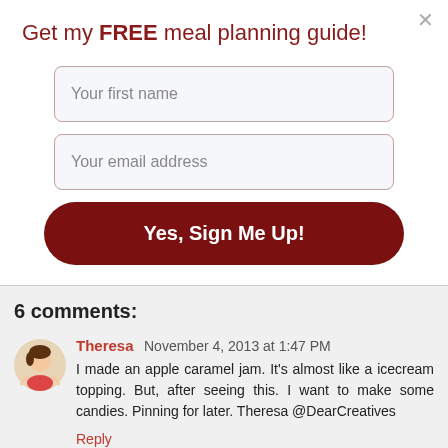Get my FREE meal planning guide!
Your first name
Your email address
Yes, Sign Me Up!
6 comments:
Theresa  November 4, 2013 at 1:47 PM
I made an apple caramel jam. It's almost like a icecream topping. But, after seeing this. I want to make some candies. Pinning for later. Theresa @DearCreatives
Reply